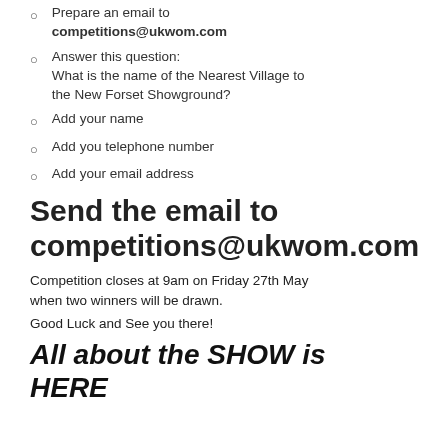Prepare an email to competitions@ukwom.com
Answer this question: What is the name of the Nearest Village to the New Forset Showground?
Add your name
Add you telephone number
Add your email address
Send the email to competitions@ukwom.com
Competition closes at 9am on Friday 27th May when two winners will be drawn.
Good Luck and See you there!
All about the SHOW is HERE